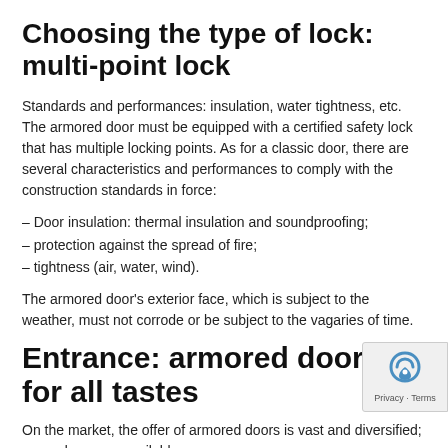Choosing the type of lock: multi-point lock
Standards and performances: insulation, water tightness, etc. The armored door must be equipped with a certified safety lock that has multiple locking points. As for a classic door, there are several characteristics and performances to comply with the construction standards in force:
– Door insulation: thermal insulation and soundproofing;
– protection against the spread of fire;
– tightness (air, water, wind).
The armored door's exterior face, which is subject to the weather, must not corrode or be subject to the vagaries of time.
Entrance: armored doors for all tastes
On the market, the offer of armored doors is vast and diversified; many doors are available.